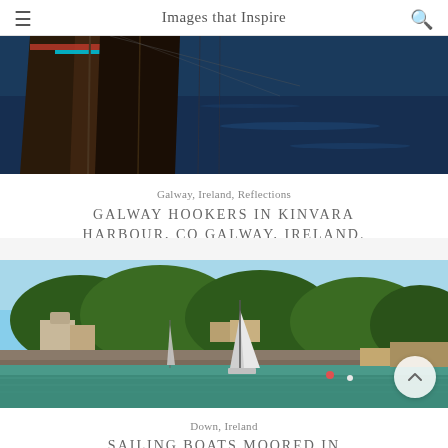Images that Inspire
[Figure (photo): Close-up of wooden boat hulls reflected in dark blue water, Galway Ireland]
Galway, Ireland, Reflections
GALWAY HOOKERS IN KINVARA HARBOUR, CO GALWAY, IRELAND.
[Figure (photo): Sailing boats moored in a harbour with trees and buildings in background, Down, Ireland on a sunny day]
Down, Ireland
SAILING BOATS MOORED IN